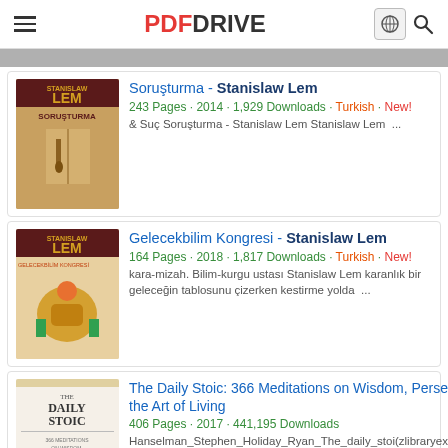PDF DRIVE
[Figure (screenshot): Partially visible book cover at top]
Soruşturma - Stanislaw Lem
243 Pages · 2014 · 1,929 Downloads · Turkish · New!
& Suç Soruşturma - Stanislaw Lem Stanislaw Lem ...
Gelecekbilim Kongresi - Stanislaw Lem
164 Pages · 2018 · 1,817 Downloads · Turkish · New!
kara-mizah. Bilim-kurgu ustası Stanislaw Lem karanlık bir geleceğin tablosunu çizerken kestirme yolda ...
The Daily Stoic: 366 Meditations on Wisdom, Perseverance, and the Art of Living
406 Pages · 2017 · 441,195 Downloads
Hanselman_Stephen_Holiday_Ryan_The_daily_stoi(zlibraryexau2g3p_onion).pdf The Daily Stoic ...
Load more similar PDF files